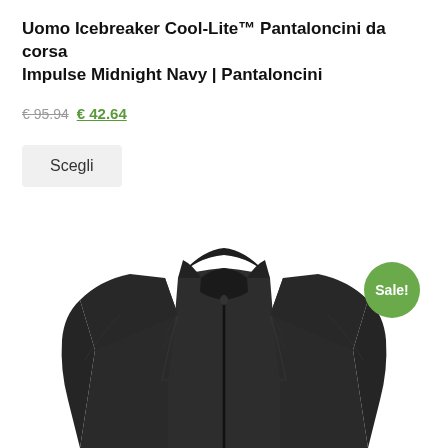Uomo Icebreaker Cool-Lite™ Pantaloncini da corsa Impulse Midnight Navy | Pantaloncini
€ 95.94 € 42.64
Scegli
[Figure (photo): Dark olive/black insulated zip-up jacket shown from the front torso up, with a stand collar and quilted panels. A green 'Sale!' badge is overlaid in the upper right of the image.]